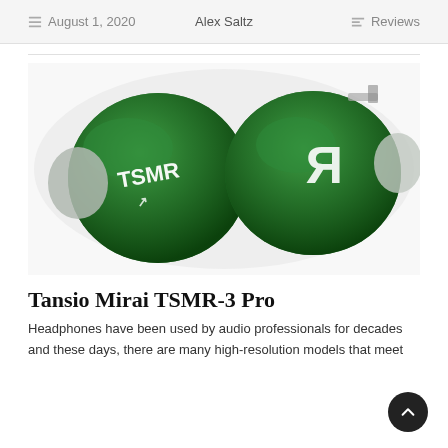August 1, 2020   Alex Saltz   Reviews
[Figure (photo): Two Tansio Mirai TSMR-3 Pro in-ear monitors with green pearl finish shell and white logo markings, one showing 'TSMR' text and one showing the mirrored 'R' logo, photographed on white background]
Tansio Mirai TSMR-3 Pro
Headphones have been used by audio professionals for decades and these days, there are many high-resolution models that meet